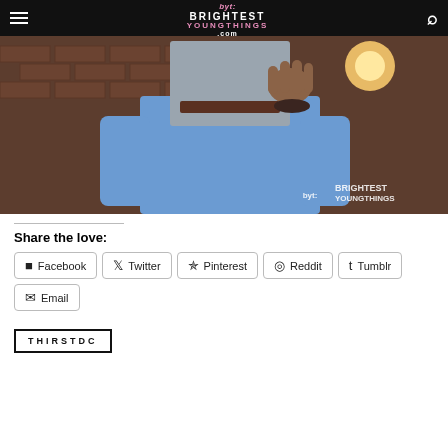byt: BRIGHTEST YOUNG THINGS .com
[Figure (photo): Person in blue shirt holding grey hat/envelope covering their face, standing in front of brick wall with warm lamp light. BYT Brightest Young Things watermark in bottom right corner.]
Share the love:
Facebook  Twitter  Pinterest  Reddit  Tumblr  Email
THIRSTDC